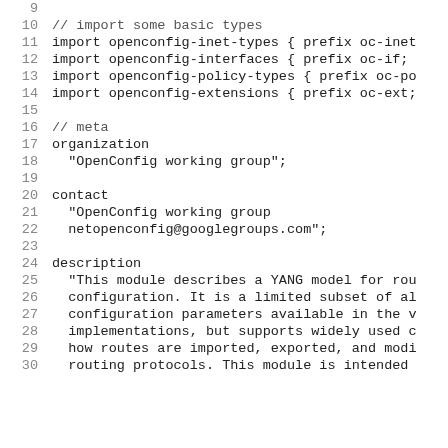9
10  // import some basic types
11  import openconfig-inet-types { prefix oc-inet
12  import openconfig-interfaces { prefix oc-if;
13  import openconfig-policy-types { prefix oc-po
14  import openconfig-extensions { prefix oc-ext;
15
16  // meta
17  organization
18    "OpenConfig working group";
19
20  contact
21    "OpenConfig working group
22    netopenconfig@googlegroups.com";
23
24  description
25    "This module describes a YANG model for rou
26    configuration. It is a limited subset of al
27    configuration parameters available in the v
28    implementations, but supports widely used c
29    how routes are imported, exported, and modi
30    routing protocols. This module is intended